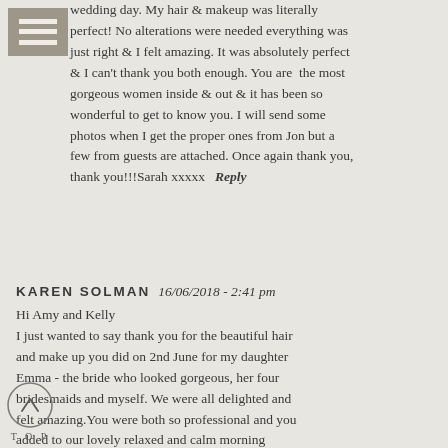[Figure (other): Hamburger menu icon with three horizontal bars on a tan/gray background]
wedding day. My hair & makeup was literally perfect! No alterations were needed everything was just right & I felt amazing. It was absolutely perfect & I can't thank you both enough. You are the most gorgeous women inside & out & it has been so wonderful to get to know you. I will send some photos when I get the proper ones from Jon but a few from guests are attached. Once again thank you, thank you!!!Sarah xxxxx  Reply
KAREN SOLMAN  16/06/2018 - 2:41 pm
Hi Amy and Kelly
I just wanted to say thank you for the beautiful hair and make up you did on 2nd June for my daughter Emma - the bride who looked gorgeous, her four bridesmaids and myself. We were all delighted and felt amazing.You were both so professional and you added to our lovely relaxed and calm morning getting 'wedding ready'. Your timings were perfect! Thank you again.
[Figure (other): Back to top circular arrow button with 'TOP' text label beneath]